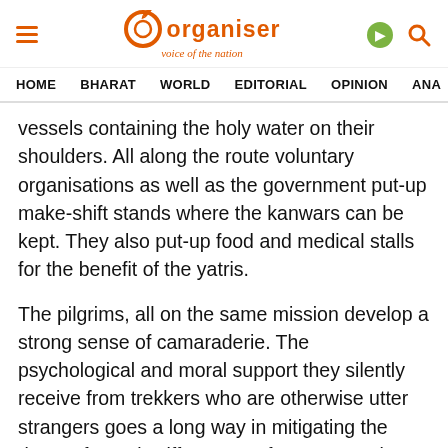Organiser — voice of the nation
HOME  BHARAT  WORLD  EDITORIAL  OPINION  ANA
vessels containing the holy water on their shoulders. All along the route voluntary organisations as well as the government put-up make-shift stands where the kanwars can be kept. They also put-up food and medical stalls for the benefit of the yatris.
The pilgrims, all on the same mission develop a strong sense of camaraderie. The psychological and moral support they silently receive from trekkers who are otherwise utter strangers goes a long way in mitigating the rigors of travel. Differences of caste, creed or social status are all swept aside. The